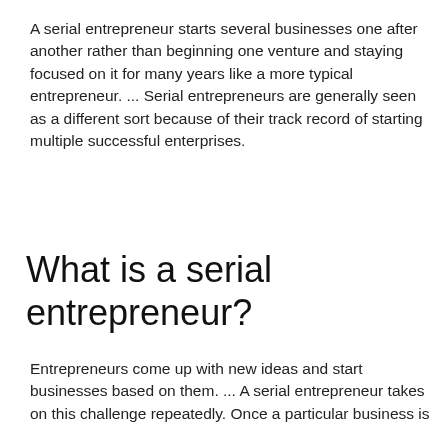A serial entrepreneur starts several businesses one after another rather than beginning one venture and staying focused on it for many years like a more typical entrepreneur. ... Serial entrepreneurs are generally seen as a different sort because of their track record of starting multiple successful enterprises.
What is a serial entrepreneur?
Entrepreneurs come up with new ideas and start businesses based on them. ... A serial entrepreneur takes on this challenge repeatedly. Once a particular business is